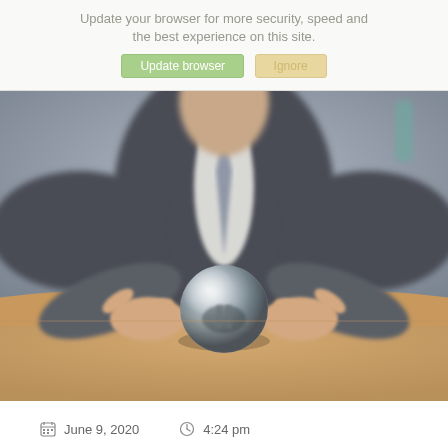Update your browser for more security, speed and the best experience on this site.
Update browser   Ignore
[Figure (photo): A businessperson in a suit sitting at a desk with both hands raised and pointing toward a crystal ball placed on the table. The image is slightly blurred/bokeh background.]
June 9, 2020   4:24 pm